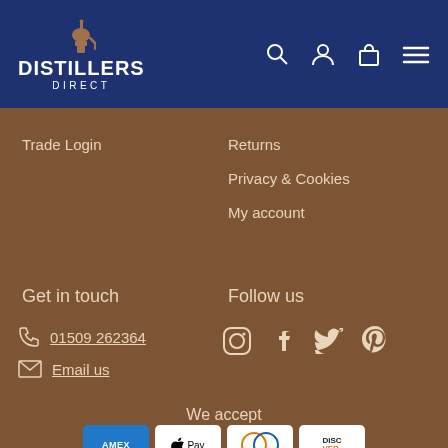[Figure (logo): Distillers Direct logo with distillery still icon on dark blue header background]
Trade Login
Returns
Privacy & Cookies
My account
Get in touch
Follow us
01509 262364
Email us
[Figure (infographic): Social media icons: Instagram, Facebook, Twitter, Pinterest]
We accept
[Figure (infographic): Payment method logos: American Express, Apple Pay, Diners Club, Discover]